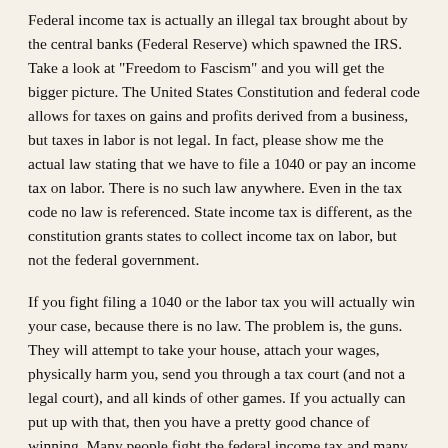Federal income tax is actually an illegal tax brought about by the central banks (Federal Reserve) which spawned the IRS. Take a look at "Freedom to Fascism" and you will get the bigger picture. The United States Constitution and federal code allows for taxes on gains and profits derived from a business, but taxes in labor is not legal. In fact, please show me the actual law stating that we have to file a 1040 or pay an income tax on labor. There is no such law anywhere. Even in the tax code no law is referenced. State income tax is different, as the constitution grants states to collect income tax on labor, but not the federal government.
If you fight filing a 1040 or the labor tax you will actually win your case, because there is no law. The problem is, the guns. They will attempt to take your house, attach your wages, physically harm you, send you through a tax court (and not a legal court), and all kinds of other games. If you actually can put up with that, then you have a pretty good chance of winning. Many people fight the federal income tax and many people win.
Being an anarchist means you don't want any government at all, and let the people govern themselves. Well, even the old wild west had a sheriff to "keep the peace". Those of us who actually want to